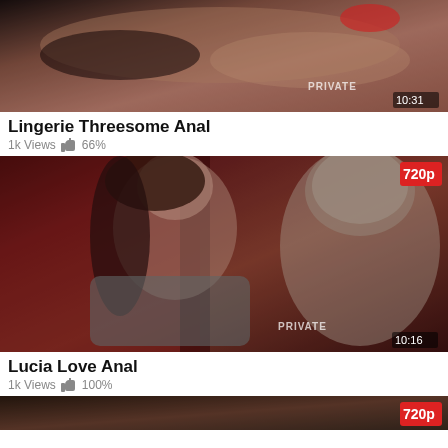[Figure (photo): Video thumbnail for Lingerie Threesome Anal, duration 10:31, with PRIVATE watermark]
Lingerie Threesome Anal
1k Views  66%
[Figure (photo): Video thumbnail for Lucia Love Anal, 720p badge, duration 10:16, with PRIVATE watermark]
Lucia Love Anal
1k Views  100%
[Figure (photo): Partially visible third video thumbnail, 720p badge]